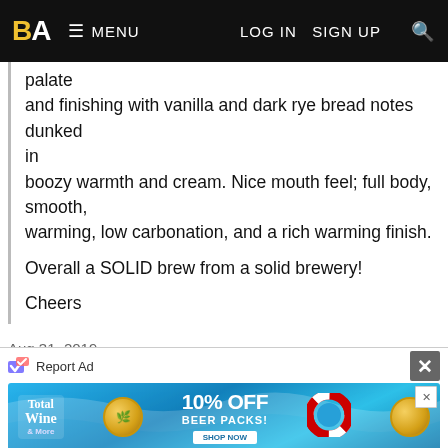BA  MENU  LOG IN  SIGN UP
palate
and finishing with vanilla and dark rye bread notes dunked in
boozy warmth and cream. Nice mouth feel; full body, smooth,
warming, low carbonation, and a rich warming finish.

Overall a SOLID brew from a solid brewery!

Cheers
Aug 31, 2019
Reviewed by beersampler6 from Michigan
4.29/5  rDev +2.1%
look: 4.5 | smell: 4.25 | taste: 4.25 | feel: 4.5 | overall: 4.25
[Figure (screenshot): Total Wine advertisement banner with pool water background, showing 10% OFF BEER PACKS offer, gold coins and a life preserver ring decoration]